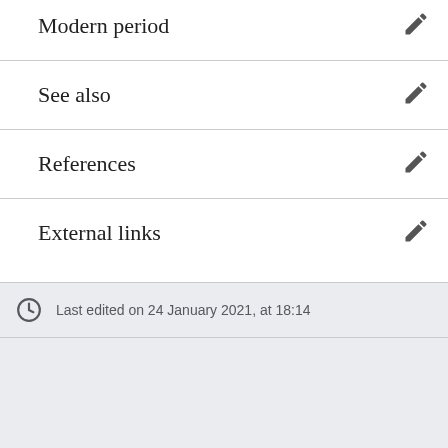Modern period
See also
References
External links
Last edited on 24 January 2021, at 18:14